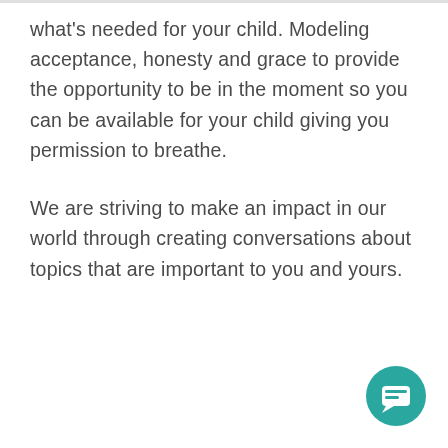what's needed for your child. Modeling acceptance, honesty and grace to provide the opportunity to be in the moment so you can be available for your child giving you permission to breathe.
We are striving to make an impact in our world through creating conversations about topics that are important to you and yours.
[Figure (other): Teal circular chat/messaging button icon in bottom-right corner]